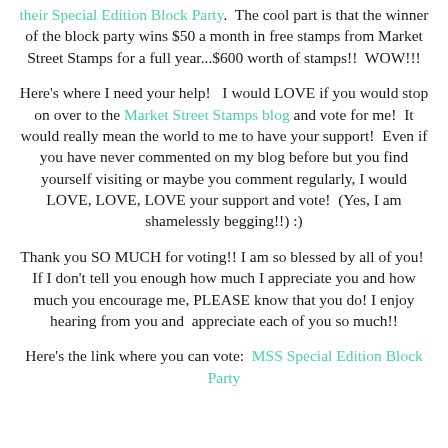their Special Edition Block Party. The cool part is that the winner of the block party wins $50 a month in free stamps from Market Street Stamps for a full year...$600 worth of stamps!!  WOW!!!
Here's where I need your help!   I would LOVE if you would stop on over to the Market Street Stamps blog and vote for me!  It would really mean the world to me to have your support!  Even if you have never commented on my blog before but you find yourself visiting or maybe you comment regularly, I would LOVE, LOVE, LOVE your support and vote!  (Yes, I am shamelessly begging!!) :)
Thank you SO MUCH for voting!! I am so blessed by all of you!  If I don't tell you enough how much I appreciate you and how much you encourage me, PLEASE know that you do! I enjoy hearing from you and  appreciate each of you so much!!
Here's the link where you can vote:  MSS Special Edition Block Party